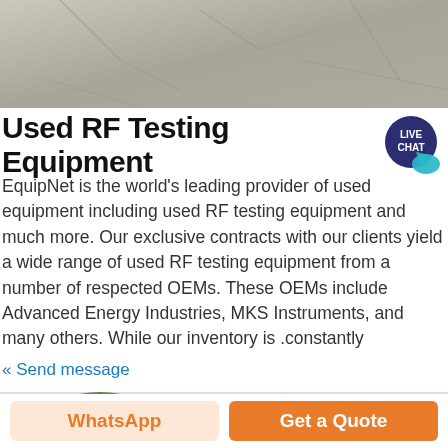[Figure (photo): Top photo: cracked cement/asphalt surface texture, grayscale-brown tones]
Used RF Testing Equipment
[Figure (logo): Live Chat speech bubble badge, dark blue/navy circle with 'LIVE CHAT' text in white, teal chat bubble]
EquipNet is the world's leading provider of used equipment including used RF testing equipment and much more. Our exclusive contracts with our clients yield a wide range of used RF testing equipment from a number of respected OEMs. These OEMs include Advanced Energy Industries, MKS Instruments, and many others. While our inventory is .constantly
« Send message
[Figure (photo): Bottom photo: outdoor scene with green bushes/trees, yellow HYSOON branded machine/equipment in the center, industrial fence and structures in background]
WhatsApp
Get a Quote